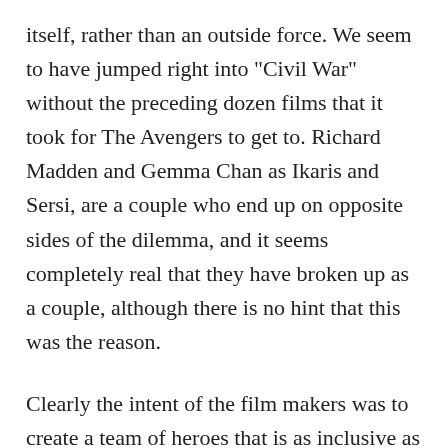itself, rather than an outside force. We seem to have jumped right into "Civil War" without the preceding dozen films that it took for The Avengers to get to. Richard Madden and Gemma Chan as Ikaris and Sersi, are a couple who end up on opposite sides of the dilemma, and it seems completely real that they have broken up as a couple, although there is no hint that this was the reason.
Clearly the intent of the film makers was to create a team of heroes that is as inclusive as possible. There is a great degree of diversity among the Eternals, but some of it is a little confusing given what we ultimately learn about their origins. There are some interesting ideas in the story that will not get the attention they deserve because there are so many characters. The